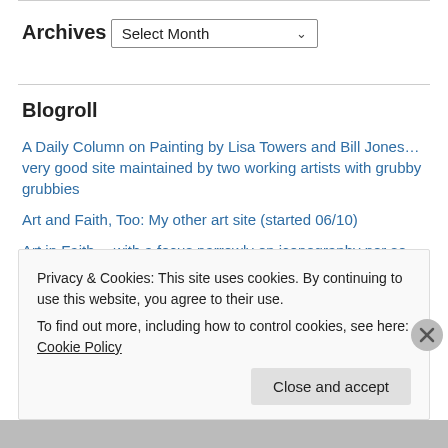Archives
Select Month
Blogroll
A Daily Column on Painting by Lisa Towers and Bill Jones… very good site maintained by two working artists with grubby grubbies
Art and Faith, Too: My other art site (started 06/10)
Art in Faith… with a focus narrowly on iconography per se…
Voices from Russia, Too: a more image-driven site
Privacy & Cookies: This site uses cookies. By continuing to use this website, you agree to their use.
To find out more, including how to control cookies, see here: Cookie Policy